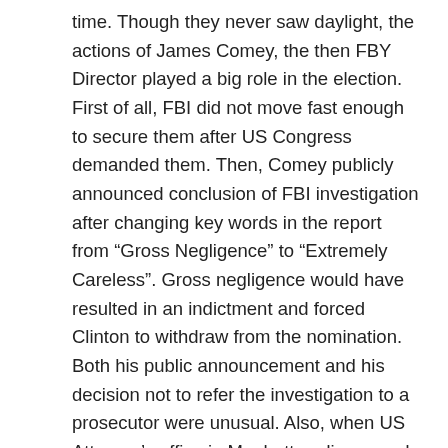time. Though they never saw daylight, the actions of James Comey, the then FBY Director played a big role in the election. First of all, FBI did not move fast enough to secure them after US Congress demanded them. Then, Comey publicly announced conclusion of FBI investigation after changing key words in the report from “Gross Negligence” to “Extremely Careless”. Gross negligence would have resulted in an indictment and forced Clinton to withdraw from the nomination. Both his public announcement and his decision not to refer the investigation to a prosecutor were unusual. Also, when US Attorney’s office in Manhattan discovered that the lap top of Anthony Weiner, husband of Clinton’s personal assistant, contained thousands of emails to or from Clinton, Comey did not take steps to investigate them for a whole month. All these actions, even if they were unintentional or based on misjudgment, would have made Comey look like he was favoring Clinton. Obviously, this was weighing on Comey when he suddenly announced few weeks before the electi when everyone thought Clinton was a sure shot to win, tha